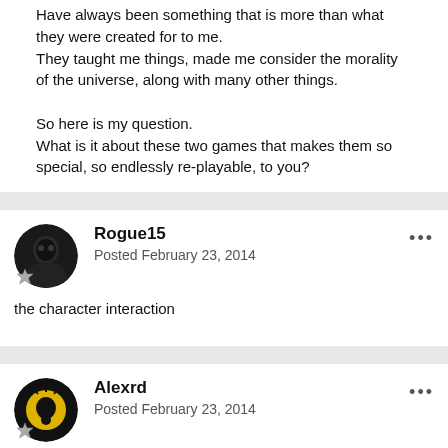Have always been something that is more than what they were created for to me.
They taught me things, made me consider the morality of the universe, along with many other things.

So here is my question.
What is it about these two games that makes them so special, so endlessly re-playable, to you?
Rogue15
Posted February 23, 2014
the character interaction
Alexrd
Posted February 23, 2014
I'm not so fond of TSL, but regarding the first game: it's a good RPG